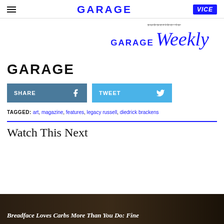GARAGE | VICE
[Figure (logo): GARAGE Weekly subscription banner with GARAGE in bold blue uppercase and 'Weekly' in italic script, blue color]
[Figure (logo): GARAGE logo in large black bold uppercase letters]
SHARE | TWEET buttons
TAGGED: art, magazine, features, legacy russell, diedrick brackens
Watch This Next
[Figure (photo): Dark bottom strip image with text: Breadface Loves Carbs More Than You Do: Fine]